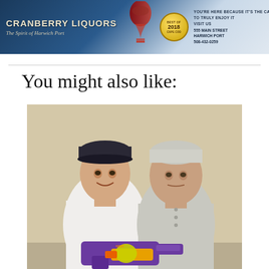[Figure (photo): Cranberry Liquors advertisement banner with logo, wine glass image, Best of 2018 badge, address text, and bottle carrier graphic. Text: 'CRANBERRY LIQUORS - The Spirit of Harwich Port. You're here because it's the Cape, to truly enjoy it visit us. 555 Main Street, Harwich Port, 508-432-0259']
You might also like:
[Figure (photo): Photo of two men standing together. A younger man on the left wearing a white t-shirt and a backwards dark baseball cap, smiling. An older man on the right wearing a light grey henley shirt. The younger man is holding a purple and orange toy water gun/Nerf-style blaster.]